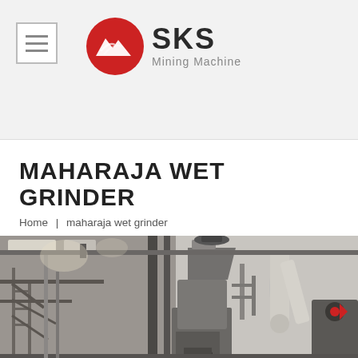[Figure (logo): SKS Mining Machine logo: red circle with white mountain/wave icon, bold text SKS, subtitle Mining Machine]
MAHARAJA WET GRINDER
Home | maharaja wet grinder
[Figure (photo): Industrial mining/grinding machinery in a factory setting. Large vertical mill with conical top, structural steel framework, conveyor pipes, and various mechanical components. Black and white/grey tones.]